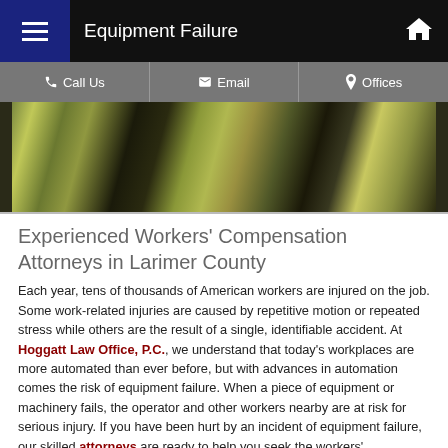Equipment Failure
[Figure (photo): Two workers in yellow/green high-visibility vests photographed from behind/side, appearing to be at a worksite]
Experienced Workers' Compensation Attorneys in Larimer County
Each year, tens of thousands of American workers are injured on the job. Some work-related injuries are caused by repetitive motion or repeated stress while others are the result of a single, identifiable accident. At Hoggatt Law Office, P.C., we understand that today's workplaces are more automated than ever before, but with advances in automation comes the risk of equipment failure. When a piece of equipment or machinery fails, the operator and other workers nearby are at risk for serious injury. If you have been hurt by an incident of equipment failure, our skilled attorneys are ready to help you seek the workers' compensation benefits you deserve.